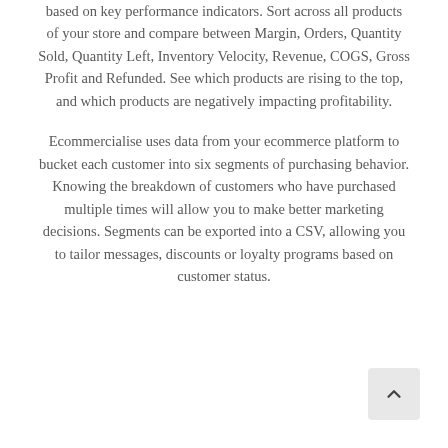based on key performance indicators. Sort across all products of your store and compare between Margin, Orders, Quantity Sold, Quantity Left, Inventory Velocity, Revenue, COGS, Gross Profit and Refunded. See which products are rising to the top, and which products are negatively impacting profitability.
Ecommercialise uses data from your ecommerce platform to bucket each customer into six segments of purchasing behavior. Knowing the breakdown of customers who have purchased multiple times will allow you to make better marketing decisions. Segments can be exported into a CSV, allowing you to tailor messages, discounts or loyalty programs based on customer status.